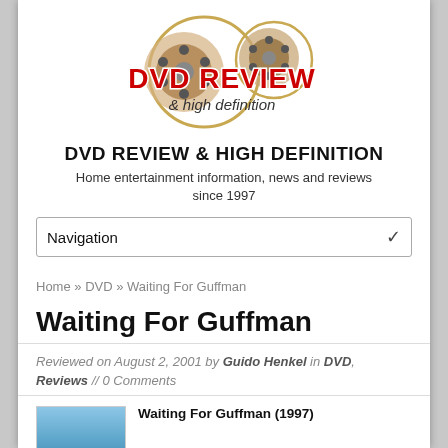[Figure (logo): DVD Review & High Definition logo with film reel and circular design, red bold text 'DVD REVIEW' with white outline, subtitle '& high definition']
DVD REVIEW & HIGH DEFINITION
Home entertainment information, news and reviews since 1997
Navigation (dropdown/select element)
Home » DVD » Waiting For Guffman
Waiting For Guffman
Reviewed on August 2, 2001 by Guido Henkel in DVD, Reviews // 0 Comments
[Figure (photo): Partial blue-toned image, likely the Waiting For Guffman DVD cover]
Waiting For Guffman (1997)